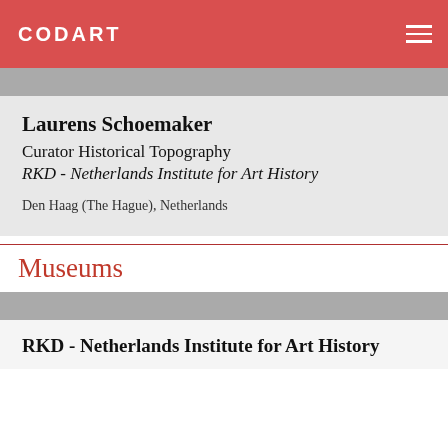CODART
Laurens Schoemaker
Curator Historical Topography
RKD - Netherlands Institute for Art History
Den Haag (The Hague), Netherlands
Museums
RKD - Netherlands Institute for Art History